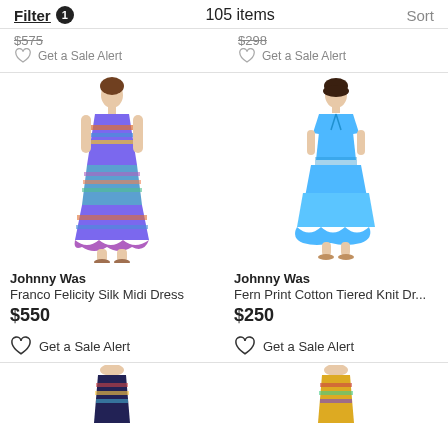Filter 1   105 items   Sort
$575   Get a Sale Alert   $298   Get a Sale Alert
[Figure (photo): Woman wearing Johnny Was Franco Felicity Silk Midi Dress, a colorful printed midi dress with ruffle hem]
Johnny Was
Franco Felicity Silk Midi Dress
$550
Get a Sale Alert
[Figure (photo): Woman wearing Johnny Was Fern Print Cotton Tiered Knit Dress in bright blue with short sleeves]
Johnny Was
Fern Print Cotton Tiered Knit Dr...
$250
Get a Sale Alert
[Figure (photo): Partial view of woman wearing dark printed dress, bottom row left]
[Figure (photo): Partial view of woman wearing colorful dress, bottom row right]